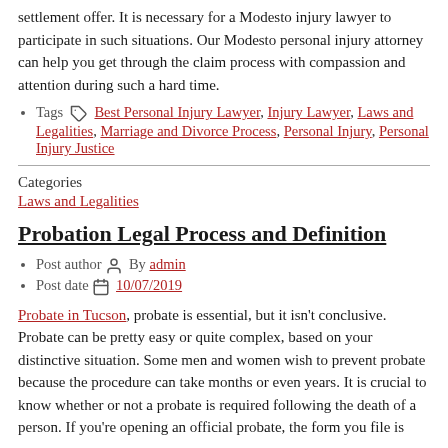settlement offer. It is necessary for a Modesto injury lawyer to participate in such situations. Our Modesto personal injury attorney can help you get through the claim process with compassion and attention during such a hard time.
Tags [icon] Best Personal Injury Lawyer, Injury Lawyer, Laws and Legalities, Marriage and Divorce Process, Personal Injury, Personal Injury Justice
Categories
Laws and Legalities
Probation Legal Process and Definition
Post author [icon] By admin
Post date [icon] 10/07/2019
Probate in Tucson, probate is essential, but it isn't conclusive. Probate can be pretty easy or quite complex, based on your distinctive situation. Some men and women wish to prevent probate because the procedure can take months or even years. It is crucial to know whether or not a probate is required following the death of a person. If you're opening an official probate, the form you file is